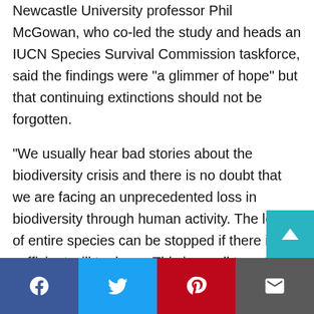Newcastle University professor Phil McGowan, who co-led the study and heads an IUCN Species Survival Commission taskforce, said the findings were “a glimmer of hope” but that continuing extinctions should not be forgotten.
“We usually hear bad stories about the biodiversity crisis and there is no doubt that we are facing an unprecedented loss in biodiversity through human activity. The loss of entire species can be stopped if there is sufficient will to do so. This is a call to action: showing the scale of the issue and what we can achieve if we act now to support conservation and prevent extinction,” he said.